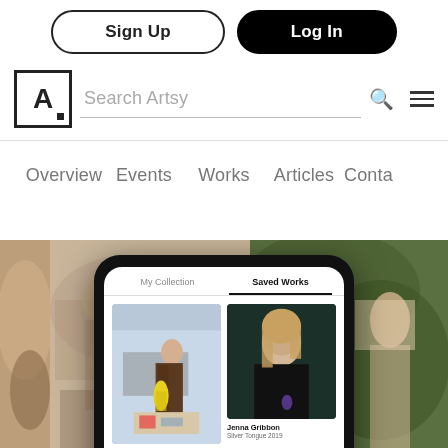Sign Up  Log In
[Figure (screenshot): Artsy website header with Sign Up and Log In buttons, search bar with Artsy logo, and navigation links: Overview, Events, Works, Articles, Contact. Below is a hero image showing a phone mockup displaying the Artsy app with My Collection and Saved Works tabs, showing two artworks including one by Jenna Gribbon titled Silver Tongue 2019, set against a background of painterly artwork images.]